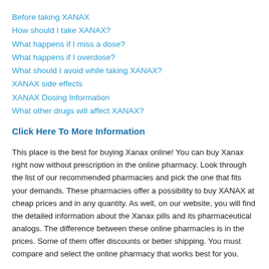Before taking XANAX
How should I take XANAX?
What happens if I miss a dose?
What happens if I overdose?
What should I avoid while taking XANAX?
XANAX side effects
XANAX Dosing Information
What other drugs will affect XANAX?
Click Here To More Information
This place is the best for buying Xanax online! You can buy Xanax right now without prescription in the online pharmacy. Look through the list of our recommended pharmacies and pick the one that fits your demands. These pharmacies offer a possibility to buy XANAX at cheap prices and in any quantity. As well, on our website, you will find the detailed information about the Xanax pills and its pharmaceutical analogs. The difference between these online pharmacies is in the prices. Some of them offer discounts or better shipping. You must compare and select the online pharmacy that works best for you.
We offer door to door delivery services. Bulk order enjoys free